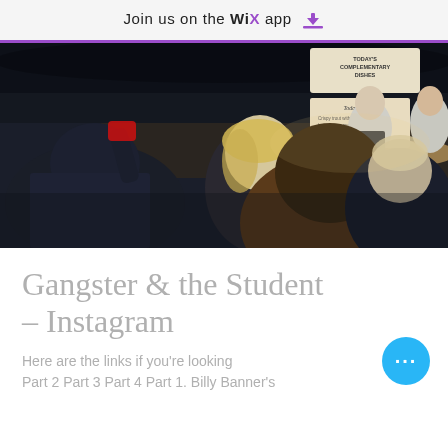Join us on the WiX app ⬇
[Figure (photo): Street food market scene. Two cooks in white shirts and aprons serving food from an outdoor stall. Several people in the foreground crowd around to take photos and watch. Signage visible in the background reading 'TODAY'S COMPLEMENTARY DISHES' and 'Today's Menu'.]
Gangster & the Student – Instagram
Here are the links if you're looking Part 2 Part 3 Part 4 Part 1. Billy Banner's